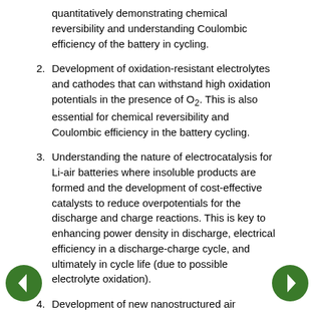quantitatively demonstrating chemical reversibility and understanding Coulombic efficiency of the battery in cycling.
2. Development of oxidation-resistant electrolytes and cathodes that can withstand high oxidation potentials in the presence of O2. This is also essential for chemical reversibility and Coulombic efficiency in the battery cycling.
3. Understanding the nature of electrocatalysis for Li-air batteries where insoluble products are formed and the development of cost-effective catalysts to reduce overpotentials for the discharge and charge reactions. This is key to enhancing power density in discharge, electrical efficiency in a discharge-charge cycle, and ultimately in cycle life (due to possible electrolyte oxidation).
4. Development of new nanostructured air cathodes that optimize transport of all reactants (O2, Li+, and